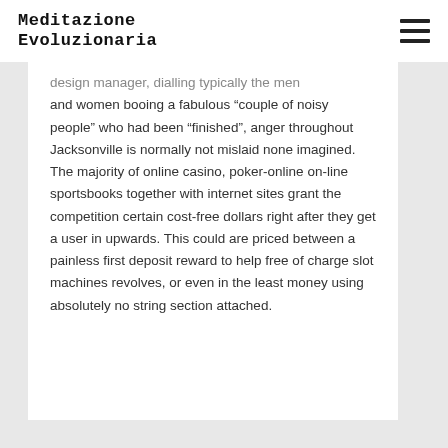Meditazione Evoluzionaria
design manager, dialling typically the men and women booing a fabulous “couple of noisy people” who had been “finished”, anger throughout Jacksonville is normally not mislaid none imagined. The majority of online casino, poker-online on-line sportsbooks together with internet sites grant the competition certain cost-free dollars right after they get a user in upwards. This could are priced between a painless first deposit reward to help free of charge slot machines revolves, or even in the least money using absolutely no string section attached.